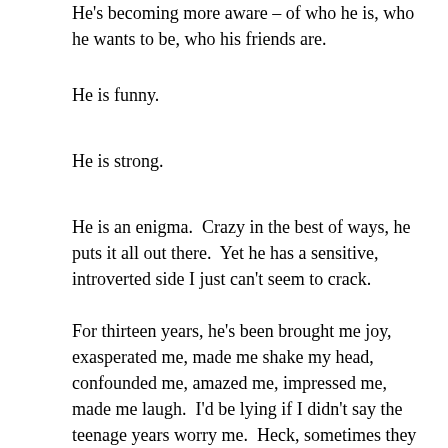He's becoming more aware – of who he is, who he wants to be, who his friends are.
He is funny.
He is strong.
He is an enigma.  Crazy in the best of ways, he puts it all out there.  Yet he has a sensitive, introverted side I just can't seem to crack.
For thirteen years, he's been brought me joy, exasperated me, made me shake my head, confounded me, amazed me, impressed me, made me laugh.  I'd be lying if I didn't say the teenage years worry me.  Heck, sometimes they scare the crap out of me.  But they're also full of anticipation.  Who will he be, and will he make good decisions, and will he have a girlfriend, and how will he do in school and will he be strong?  Will he ever remember to brush his teeth (that there's the true cliffhanger, folks)?  I am crazy about this kid and all he can do and I know I haven't even experienced a trillionth of what's in store for him.  I love our conversations, his